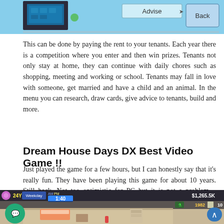[Figure (screenshot): Top portion of a game screenshot showing 'Advise' button and 'Back' button UI elements against a blue background with building/room graphics]
This can be done by paying the rent to your tenants. Each year there is a competition where you enter and then win prizes. Tenants not only stay at home, they can continue with daily chores such as shopping, meeting and working or school. Tenants may fall in love with someone, get married and have a child and an animal. In the menu you can research, draw cards, give advice to tenants, build and more.
Dream House Days DX Best Video Game !!
Just played the game for a few hours, but I can honestly say that it's really fun. They have been playing this game for about 10 years. Still back. Not too optimistic for PC but it is not a problem – controller is recommended.
[Figure (screenshot): Bottom game screenshot showing isometric apartment building interior with HUD displaying $1,265.5K money, 1982 research points, day counter showing 24Y Weekday 1:40 PM, and navigation/chat UI buttons]